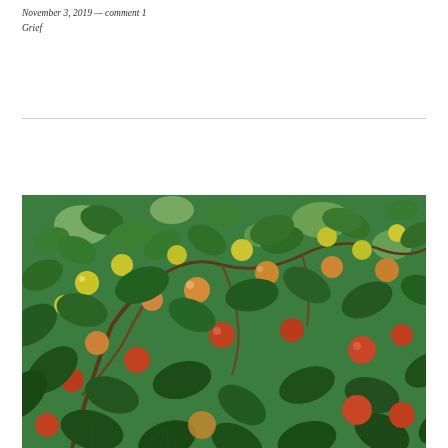November 3, 2019 — comment 1
Grief
[Figure (photo): Close-up photograph of an apple tree with many green leaves and apples in various stages of ripening — green, yellow, and red-orange — densely covering the branches.]